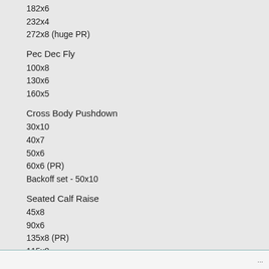182x6
232x4
272x8 (huge PR)
Pec Dec Fly
100x8
130x6
160x5
Cross Body Pushdown
30x10
40x7
50x6
60x6 (PR)
Backoff set - 50x10
Seated Calf Raise
45x8
90x6
135x8 (PR)
115x8
Loving bodybuilding training. Never had this much fun and my physique is better than ever.
...